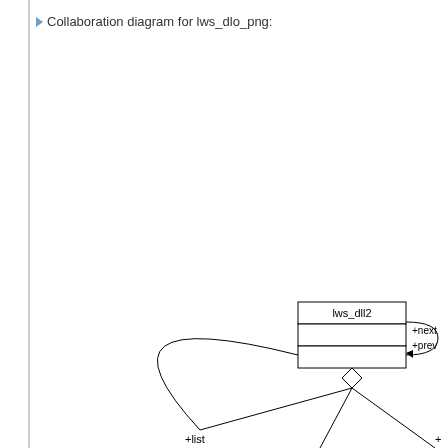▶ Collaboration diagram for lws_dlo_png:
[Figure (engineering-diagram): UML collaboration diagram showing lws_dll2 struct node with self-referencing arrows labeled +next and +prev, and outgoing aggregation lines to +list and other members (partially visible at bottom edge).]